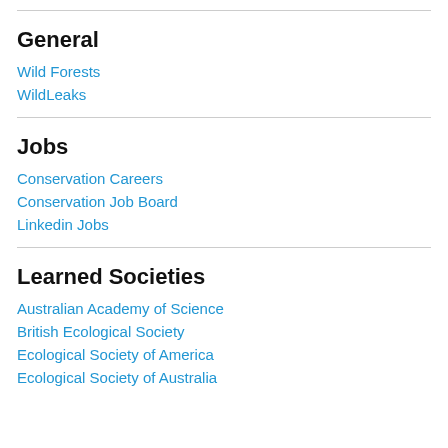General
Wild Forests
WildLeaks
Jobs
Conservation Careers
Conservation Job Board
Linkedin Jobs
Learned Societies
Australian Academy of Science
British Ecological Society
Ecological Society of America
Ecological Society of Australia